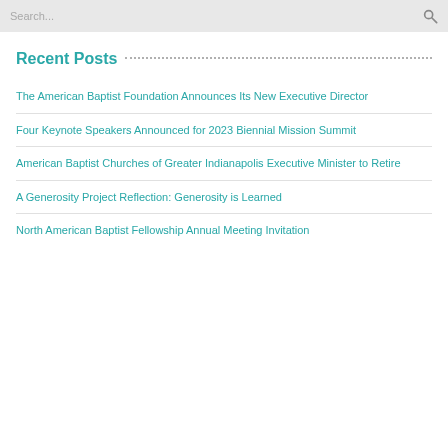Search...
Recent Posts
The American Baptist Foundation Announces Its New Executive Director
Four Keynote Speakers Announced for 2023 Biennial Mission Summit
American Baptist Churches of Greater Indianapolis Executive Minister to Retire
A Generosity Project Reflection: Generosity is Learned
North American Baptist Fellowship Annual Meeting Invitation